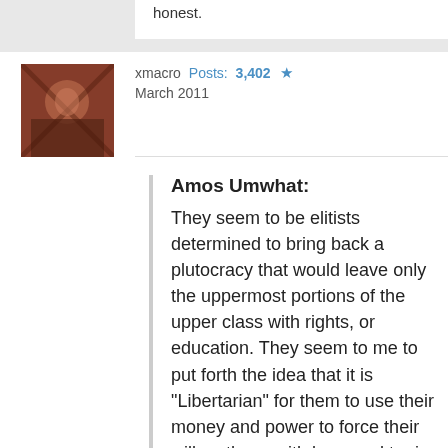honest.
xmacro Posts: 3,402 ★ March 2011
Amos Umwhat: They seem to be elitists determined to bring back a plutocracy that would leave only the uppermost portions of the upper class with rights, or education. They seem to me to put forth the idea that it is "Libertarian" for them to use their money and power to force their will on those with less, and to rig the law to support their position.